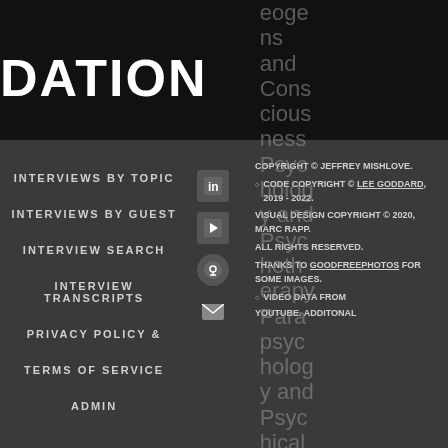DATION
eoge
ns
and
Cons
Cious
ness
Psyc
holog
y and
Psyc
hoth
erapy
Para
psyc
holog
y and
Psyc
hical
Rese
arch
INTERVIEWS BY TOPIC
INTERVIEWS BY GUEST
INTERVIEW SEARCH
INTERVIEW TRANSCRIPTS
PRIVACY POLICY &
TERMS OF SERVICE
ADMIN
COPYRIGHT © JEFFREY MISHLOVE.
CODE COPYRIGHT © LEE GODDARD, 2019 - 2022.
VISUAL DESIGN COPYRIGHT © 2020, MARC RAPP.
ALL RIGHTS RESERVED.
THANKS TO GOODFREEPHOTOS FOR SOME IMAGES.
VIDEO DATA FROM YOUTUBE. ADDITONAL